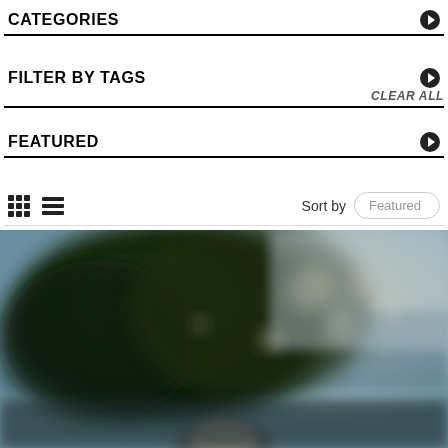CATEGORIES
FILTER BY TAGS
CLEAR ALL
FEATURED
Sort by  Featured
[Figure (photo): Blurred outdoor photo showing a person partially visible from the chin up, with a blurred tree and sky in the background]